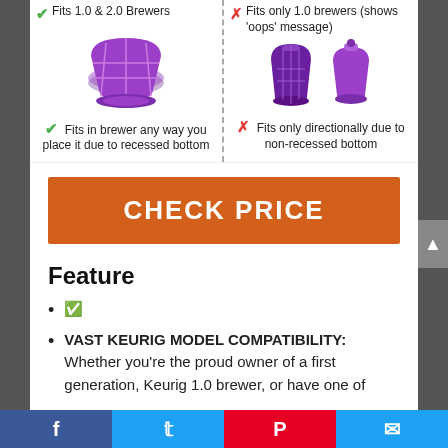[Figure (infographic): Comparison of two coffee filter cups. Left side shows a purple reusable K-cup filter with green checkmark labels: 'Fits 1.0 & 2.0 Brewers' and 'Fits in brewer any way you place it due to recessed bottom'. Right side shows two purple pods with red X labels: 'Fits only 1.0 brewers (shows oops message)' and 'Fits only directionally due to non-recessed bottom'.]
CHECK PRICE
Feature
&#9989
VAST KEURIG MODEL COMPATIBILITY: Whether you're the proud owner of a first generation, Keurig 1.0 brewer, or have one of